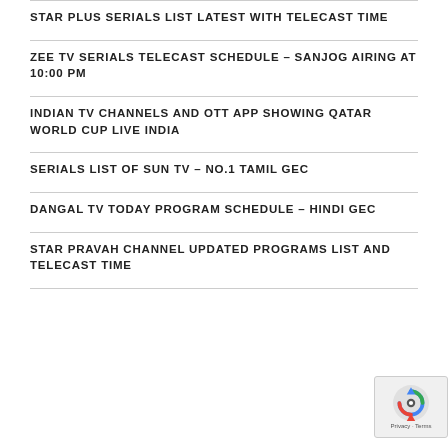STAR PLUS SERIALS LIST LATEST WITH TELECAST TIME
ZEE TV SERIALS TELECAST SCHEDULE – SANJOG AIRING AT 10:00 PM
INDIAN TV CHANNELS AND OTT APP SHOWING QATAR WORLD CUP LIVE INDIA
SERIALS LIST OF SUN TV – NO.1 TAMIL GEC
DANGAL TV TODAY PROGRAM SCHEDULE – HINDI GEC
STAR PRAVAH CHANNEL UPDATED PROGRAMS LIST AND TELECAST TIME
[Figure (logo): reCAPTCHA badge with circular arrow icon and Privacy/Terms text]